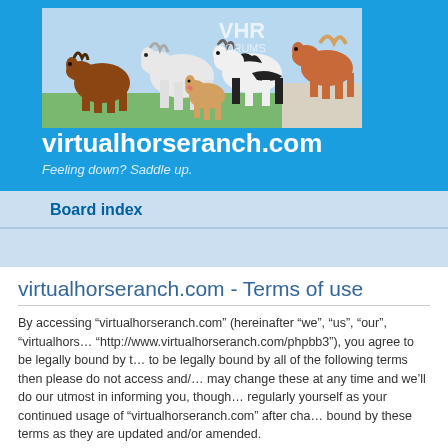[Figure (illustration): VHR Forums banner image showing illustrated/cartoon horses grouped together with the VHR Forums logo text in the upper right area]
virtualhorseranch.com
Feeling down? Saddle up.
Board index
virtualhorseranch.com - Terms of use
By accessing “virtualhorseranch.com” (hereinafter “we”, “us”, “our”, “virtualhorse...”, “http://www.virtualhorseranch.com/phpbb3”), you agree to be legally bound by t... to be legally bound by all of the following terms then please do not access and/... may change these at any time and we’ll do our utmost in informing you, though... regularly yourself as your continued usage of “virtualhorseranch.com” after cha... bound by these terms as they are updated and/or amended.
Our forums are powered by phpBB (hereinafter “they”, “them”, “their”, “phpBB s... Group”, “phpBB Teams”) which is a bulletin board solution released under the...